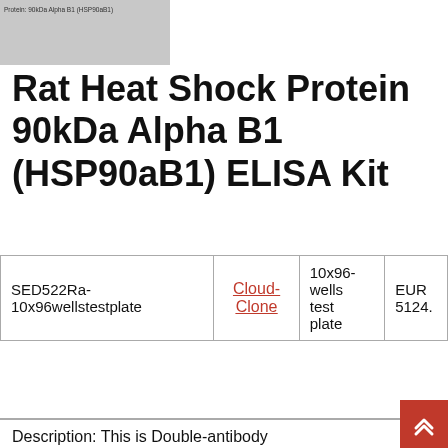Protein: 90kDa Alpha B1 (HSP90aB1)
Rat Heat Shock Protein 90kDa Alpha B1 (HSP90aB1) ELISA Kit
|  |  |  |  |
| --- | --- | --- | --- |
| SED522Ra-10x96wellstestplate | Cloud-Clone | 10x96-wells test plate | EUR 5124. |
Description: This is Double-antibody